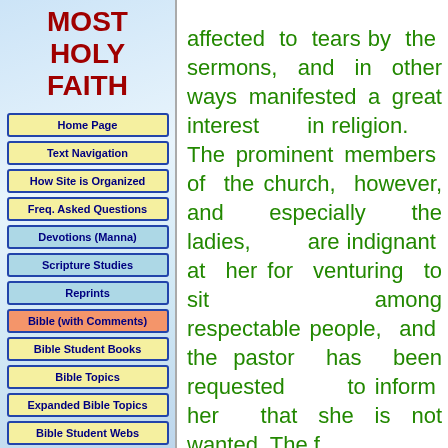MOST HOLY FAITH
Home Page
Text Navigation
How Site is Organized
Freq. Asked Questions
Devotions (Manna)
Scripture Studies
Reprints
Bible (with Comments)
Bible Student Books
Bible Topics
Expanded Bible Topics
Bible Student Webs
Miscellaneous
affected to tears by the sermons, and in other ways manifested a great interest in religion. The prominent members of the church, however, and especially the ladies, are indignant at her for venturing to sit among respectable people, and the pastor has been requested to inform her that she is not wanted. The f...